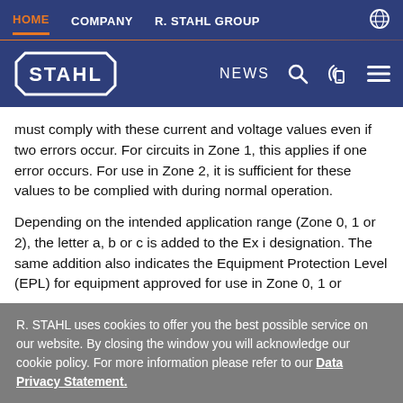HOME  COMPANY  R. STAHL GROUP
[Figure (logo): R. STAHL company logo — white octagon outline with STAHL text inside, on dark blue background. Navigation bar with NEWS, search, phone, and menu icons.]
must comply with these current and voltage values even if two errors occur. For circuits in Zone 1, this applies if one error occurs. For use in Zone 2, it is sufficient for these values to be complied with during normal operation.
Depending on the intended application range (Zone 0, 1 or 2), the letter a, b or c is added to the Ex i designation. The same addition also indicates the Equipment Protection Level (EPL) for equipment approved for use in Zone 0, 1 or
R. STAHL uses cookies to offer you the best possible service on our website. By closing the window you will acknowledge our cookie policy. For more information please refer to our Data Privacy Statement.